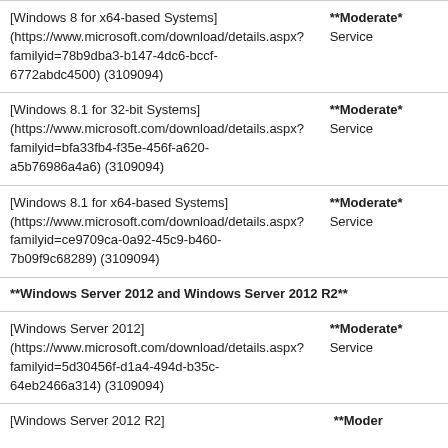| Software | Severity/Type |
| --- | --- |
| [Windows 8 for x64-based Systems] (https://www.microsoft.com/download/details.aspx?familyid=78b9dba3-b147-4dc6-bccf-6772abdc4500) (3109094) | **Moderate* Service |
| [Windows 8.1 for 32-bit Systems] (https://www.microsoft.com/download/details.aspx?familyid=bfa33fb4-f35e-456f-a620-a5b76986a4a6) (3109094) | **Moderate* Service |
| [Windows 8.1 for x64-based Systems] (https://www.microsoft.com/download/details.aspx?familyid=ce9709ca-0a92-45c9-b460-7b09f9c68289) (3109094) | **Moderate* Service |
| **Windows Server 2012 and Windows Server 2012 R2** |  |
| [Windows Server 2012] (https://www.microsoft.com/download/details.aspx?familyid=5d30456f-d1a4-494d-b35c-64eb2466a314) (3109094) | **Moderate* Service |
| [Windows Server 2012 R2] | **Moder... |